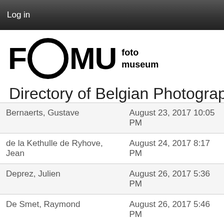Log in
[Figure (logo): FOMU fotomuseum logo with bold letters F, O, M, U and circular O, with 'foto museum' text to the right]
Directory of Belgian Photograph
| Name | Date |
| --- | --- |
| Bernaerts, Gustave | August 23, 2017 10:05 PM |
| de la Kethulle de Ryhove, Jean | August 24, 2017 8:17 PM |
| Deprez, Julien | August 26, 2017 5:36 PM |
| De Smet, Raymond | August 26, 2017 5:46 PM |
| Hemelsoet, Maurice | September 3, 2017 7:29 PM |
| Maere, Joseph | September 3, 2017 8:01 PM |
|  | September 4, 2017 11:53 |